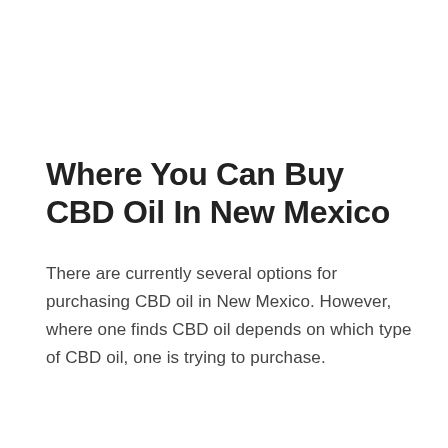Where You Can Buy CBD Oil In New Mexico
There are currently several options for purchasing CBD oil in New Mexico. However, where one finds CBD oil depends on which type of CBD oil, one is trying to purchase.